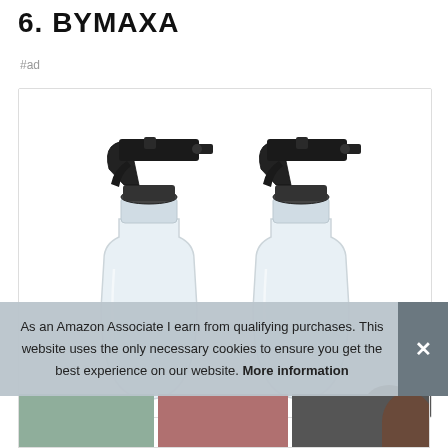6. BYMAXА
#ad
[Figure (photo): Two clear glass spray bottles with black trigger sprayer tops, shown side by side on a white background inside a product card with a thin border.]
As an Amazon Associate I earn from qualifying purchases. This website uses the only necessary cookies to ensure you get the best experience on our website. More information